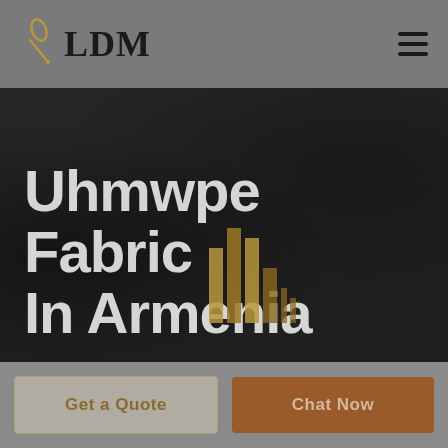[Figure (logo): LDM logo with needle/pin icon on left and bold serif LDM text]
[Figure (illustration): Dark hero background image showing industrial/fabric setting with heavy overlay]
Uhmwpe Fabric In Armenia
[Figure (bar-chart): Small decorative bar chart overlay on the hero image in gold tones]
Get a Quote
Chat Now